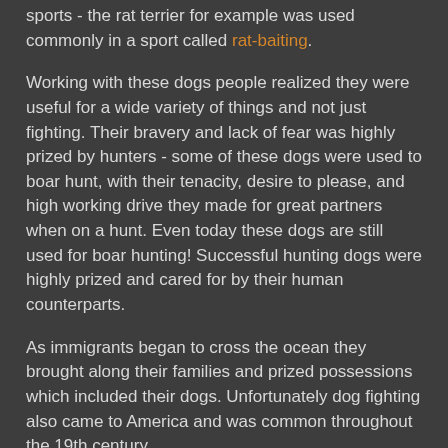sports - the rat terrier for example was used commonly in a sport called rat-baiting.
Working with these dogs people realized they were useful for a wide variety of things and not just fighting. Their bravery and lack of fear was highly prized by hunters - some of these dogs were used to boar hunt, with their tenacity, desire to please, and high working drive they made for great partners when on a hunt. Even today these dogs are still used for boar hunting! Successful hunting dogs were highly prized and cared for by their human counterparts.
As immigrants began to cross the ocean they brought along their families and prized possessions which included their dogs. Unfortunately dog fighting also came to America and was common throughout the 19th century.
The All American Dog.
[Figure (photo): Top portion of a dog's head showing ears against a light beige background]